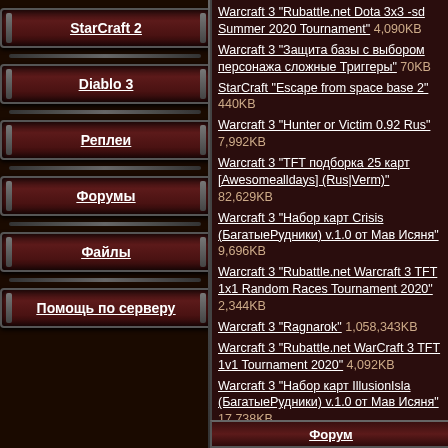StarCraft 2
Diablo 3
Реплеи
Форумы
Файлы
Помощь по серверу
Warcraft 3 "Rubattle.net Dota 3x3 -sd Summer 2020 Tournament" 4,090KB
Warcraft 3 "Защита базы с выбором персонажа сложные Триггеры" 70KB
StarCraft "Escape from space base 2" 440KB
Warcraft 3 "Hunter or Victim 0.92 Rus" 7,992KB
Warcraft 3 "TFT подборка 25 карт [Awesomealldays] (Rus|Verm)" 82,629KB
Warcraft 3 "Набор карт Crisis (БагатыеРудники) v.1.0 от Мав Исяня" 9,696KB
Warcraft 3 "Rubattle.net Warcraft 3 TFT 1x1 Random Races Tournament 2020" 2,344KB
Warcraft 3 "Ragnarok" 1,058,343KB
Warcraft 3 "Rubattle.net WarCraft 3 TFT 1v1 Tournament 2020" 4,092KB
Warcraft 3 "Набор карт IllusionIsla (БагатыеРудники) v.1.0 от Мав Исяня" 17,738KB
Форум